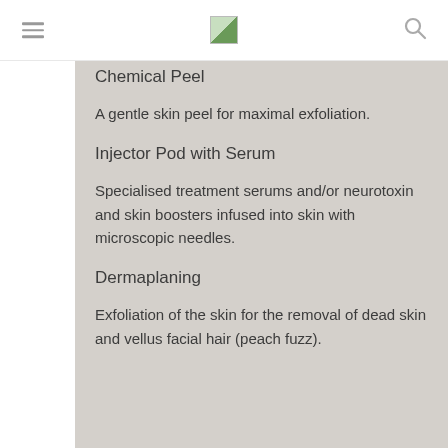[logo] [hamburger menu] [search icon]
Chemical Peel
A gentle skin peel for maximal exfoliation.
Injector Pod with Serum
Specialised treatment serums and/or neurotoxin and skin boosters infused into skin with microscopic needles.
Dermaplaning
Exfoliation of the skin for the removal of dead skin and vellus facial hair (peach fuzz).